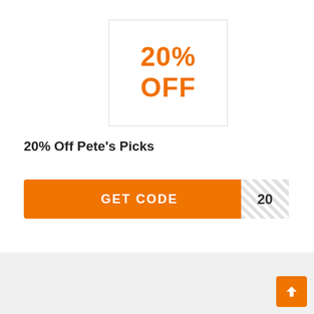[Figure (other): Coupon box with orange text showing 20% OFF]
20% Off Pete's Picks
GET CODE  20